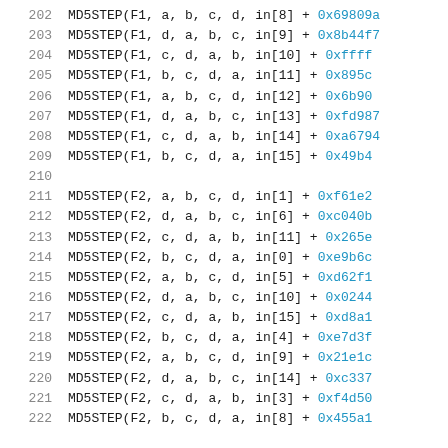202   MD5STEP(F1, a, b, c, d, in[8] + 0x69809a
203   MD5STEP(F1, d, a, b, c, in[9] + 0x8b44f7
204   MD5STEP(F1, c, d, a, b, in[10] + 0xffff
205   MD5STEP(F1, b, c, d, a, in[11] + 0x895c
206   MD5STEP(F1, a, b, c, d, in[12] + 0x6b90
207   MD5STEP(F1, d, a, b, c, in[13] + 0xfd98
208   MD5STEP(F1, c, d, a, b, in[14] + 0xa679
209   MD5STEP(F1, b, c, d, a, in[15] + 0x49b4
210
211   MD5STEP(F2, a, b, c, d, in[1] + 0xf61e2
212   MD5STEP(F2, d, a, b, c, in[6] + 0xc040b
213   MD5STEP(F2, c, d, a, b, in[11] + 0x265e
214   MD5STEP(F2, b, c, d, a, in[0] + 0xe9b6c
215   MD5STEP(F2, a, b, c, d, in[5] + 0xd62f1
216   MD5STEP(F2, d, a, b, c, in[10] + 0x0244
217   MD5STEP(F2, c, d, a, b, in[15] + 0xd8a1
218   MD5STEP(F2, b, c, d, a, in[4] + 0xe7d3f
219   MD5STEP(F2, a, b, c, d, in[9] + 0x21e1c
220   MD5STEP(F2, d, a, b, c, in[14] + 0xc337
221   MD5STEP(F2, c, d, a, b, in[3] + 0xf4d50
222   MD5STEP(F2, b, c, d, a, in[8] + 0x455a1